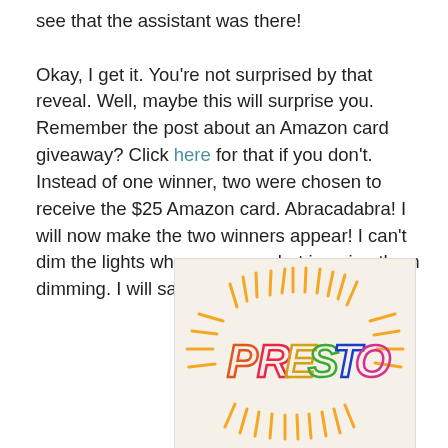see that the assistant was there!

Okay, I get it. You're not surprised by that reveal. Well, maybe this will surprise you. Remember the post about an Amazon card giveaway? Click here for that if you don't. Instead of one winner, two were chosen to receive the $25 Amazon card. Abracadabra! I will now make the two winners appear! I can't dim the lights where you are, but imagine them dimming. I will say the magic word:
[Figure (photo): Hand-drawn colorful letters spelling PRESTO with radiating lines around them on a light beige background, resembling a magic word sign.]